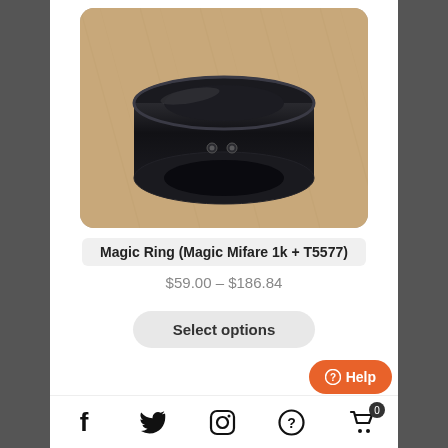[Figure (photo): A black smart ring (Magic Ring) sitting on a wooden surface, viewed from slightly above, showing two small circular sensor dots on the flat outer surface.]
Magic Ring (Magic Mifare 1k + T5577)
$59.00 – $186.84
Select options
Help
Facebook, Twitter, Instagram, Help, Cart (0)